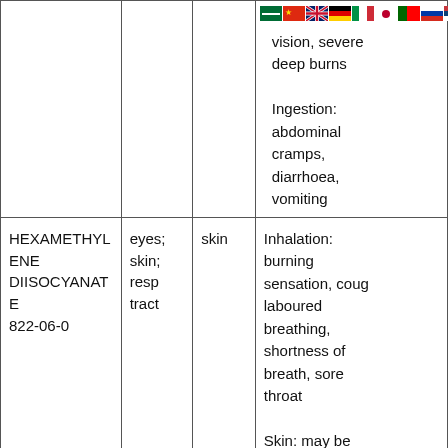| Chemical / CAS | Target organs | Routes of exposure | Symptoms |
| --- | --- | --- | --- |
|  |  |  | blurred vision, severe deep burns

Ingestion: abdominal cramps, diarrhoea, vomiting |
| HEXAMETHYLENE DIISOCYANATE
822-06-0 | eyes; skin; resp tract | skin | Inhalation: burning sensation, cough, laboured breathing, shortness of breath, sore throat

Skin: may be |